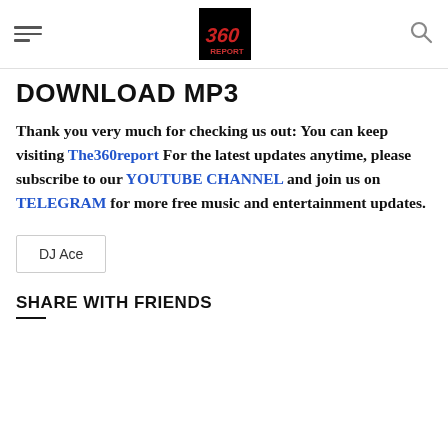[hamburger menu] [360report logo] [search icon]
DOWNLOAD MP3
Thank you very much for checking us out: You can keep visiting The360report For the latest updates anytime, please subscribe to our YOUTUBE CHANNEL and join us on TELEGRAM for more free music and entertainment updates.
DJ Ace
SHARE WITH FRIENDS